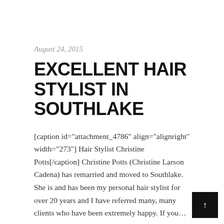August 24, 2015
EXCELLENT HAIR STYLIST IN SOUTHLAKE
[caption id="attachment_4786" align="alignright" width="273"] Hair Stylist Christine Potts[/caption] Christine Potts (Christine Larson Cadena) has remarried and moved to Southlake. She is and has been my personal hair stylist for over 20 years and I have referred many, many clients who have been extremely happy. If you...